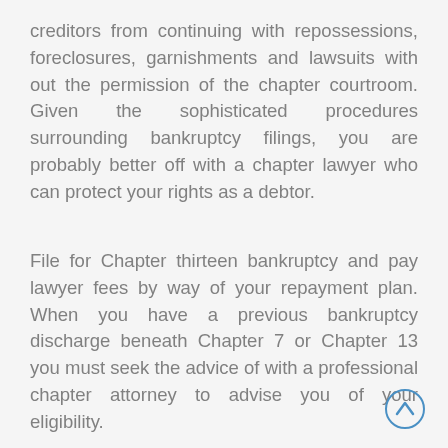creditors from continuing with repossessions, foreclosures, garnishments and lawsuits with out the permission of the chapter courtroom. Given the sophisticated procedures surrounding bankruptcy filings, you are probably better off with a chapter lawyer who can protect your rights as a debtor.
File for Chapter thirteen bankruptcy and pay lawyer fees by way of your repayment plan. When you have a previous bankruptcy discharge beneath Chapter 7 or Chapter 13 you must seek the advice of with a professional chapter attorney to advise you of your eligibility.